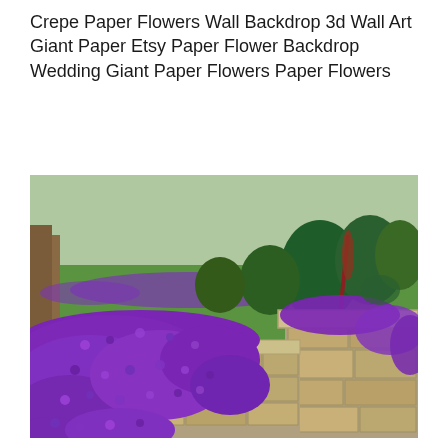Crepe Paper Flowers Wall Backdrop 3d Wall Art Giant Paper Etsy Paper Flower Backdrop Wedding Giant Paper Flowers Paper Flowers
[Figure (photo): Garden photo showing a stone wall covered in cascading bright purple flowers (aubrieta or creeping phlox), with green shrubs, trees, and a lawn in the background.]